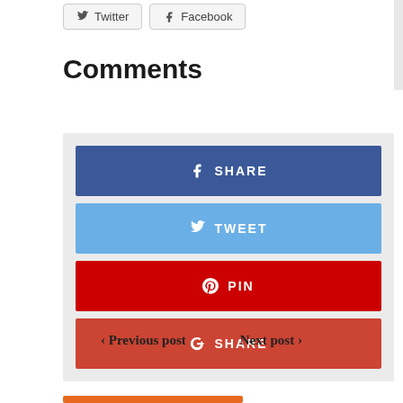Twitter  Facebook
Comments
[Figure (infographic): Social share buttons: Facebook SHARE (blue), Twitter TWEET (light blue), Pinterest PIN (red), Google+ SHARE (dark red/orange)]
< Previous post   Next post >